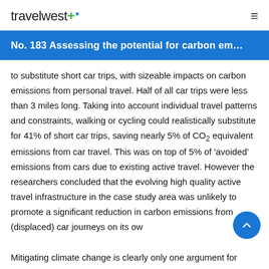travelwest+ ≡
No. 183 Assessing the potential for carbon em…
to substitute short car trips, with sizeable impacts on carbon emissions from personal travel. Half of all car trips were less than 3 miles long. Taking into account individual travel patterns and constraints, walking or cycling could realistically substitute for 41% of short car trips, saving nearly 5% of CO2 equivalent emissions from car travel. This was on top of 5% of 'avoided' emissions from cars due to existing active travel. However the researchers concluded that the evolving high quality active travel infrastructure in the case study area was unlikely to promote a significant reduction in carbon emissions from (displaced) car journeys on its ow
Mitigating climate change is clearly only one argument for